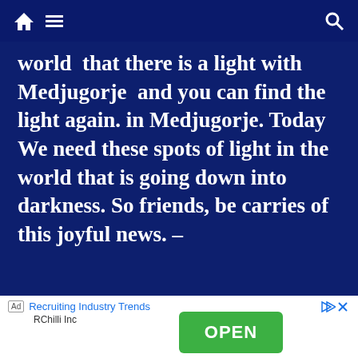Navigation bar with home, menu, and search icons
world  that there is a light with Medjugorje  and you can find the light again. in Medjugorje. Today We need these spots of light in the world that is going down into darkness. So friends, be carries of this joyful news. –
Ad  Recruiting Industry Trends  RChilli Inc  OPEN